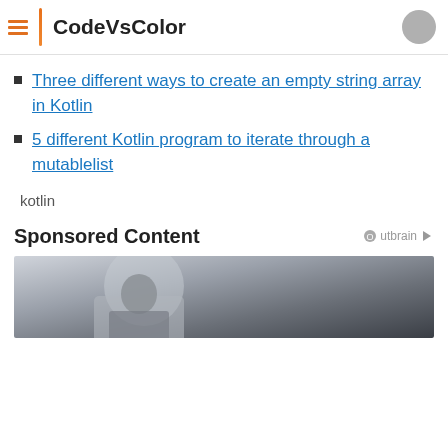CodeVsColor
Three different ways to create an empty string array in Kotlin
5 different Kotlin program to iterate through a mutablelist
kotlin
Sponsored Content
[Figure (photo): Person sitting at a desk, sponsored content image]